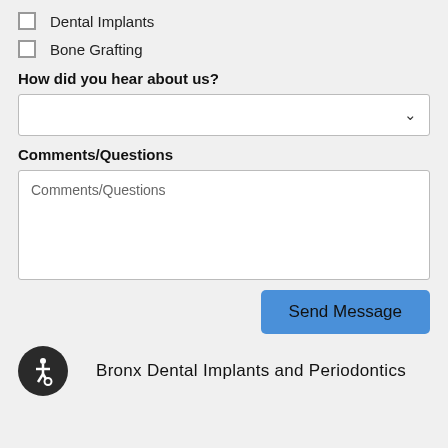Dental Implants
Bone Grafting
How did you hear about us?
[Figure (screenshot): Dropdown select field, empty, with chevron arrow on right]
Comments/Questions
[Figure (screenshot): Textarea input field with placeholder text 'Comments/Questions']
Send Message
[Figure (logo): Dark circular accessibility icon with wheelchair symbol]
Bronx Dental Implants and Periodontics